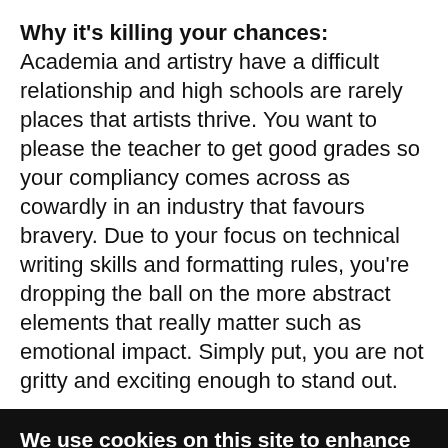Why it's killing your chances: Academia and artistry have a difficult relationship and high schools are rarely places that artists thrive. You want to please the teacher to get good grades so your compliancy comes across as cowardly in an industry that favours bravery. Due to your focus on technical writing skills and formatting rules, you're dropping the ball on the more abstract elements that really matter such as emotional impact. Simply put, you are not gritty and exciting enough to stand out.
We use cookies on this site to enhance your user experience
By clicking the Accept button, you agree to us doing so.
No, give me more info
OK, I agree   No, thanks